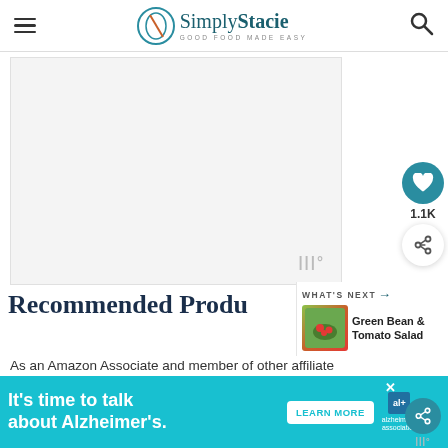Simply Stacie — GOOD FOOD MADE EASY
[Figure (other): Large blank/placeholder image area with a Mediavine watermark logo in the bottom right]
Recommended Products
[Figure (photo): WHAT'S NEXT: Green Bean & Tomato Salad thumbnail]
As an Amazon Associate and member of other affiliate
[Figure (infographic): Ad banner: It's time to talk about Alzheimer's. LEARN MORE. Alzheimer's Association logo.]